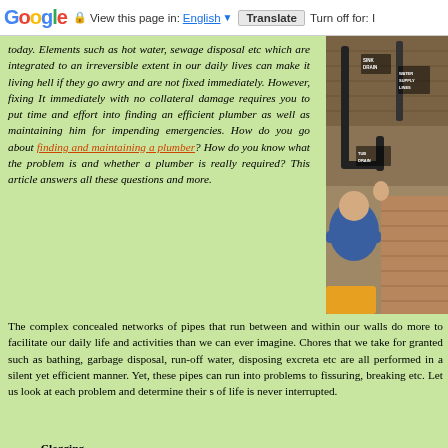Google | View this page in: English | Translate | Turn off for: I
today. Elements such as hot water, sewage disposal etc which are integrated to an irreversible extent in our daily lives can make it living hell if they go awry and are not fixed immediately. However, fixing It immediately with no collateral damage requires you to put time and effort into finding an efficient plumber as well as maintaining him for impending emergencies. How do you go about finding and maintaining a plumber? How do you know what the problem is and whether a plumber is really required? This article answers all these questions and more.
[Figure (photo): Plumbing diagram showing pipes under a sink/ceiling including sink drain, water supply lines, and tub drain labels, with a person working on pipes]
The complex concealed networks of pipes that run between and within our walls do more to facilitate our daily life and activities than we can ever imagine. Chores that we take for granted such as bathing, garbage disposal, run-off water, disposing excreta etc are all performed in a silent yet efficient manner. Yet, these pipes can run into problems to fissuring, breaking etc. Let us look at each problem and determine their so of life is never interrupted.
Clogging
Pipes can broadly be classified into input pipes and output p clogged, the speed of the stream of water as well as the amou Further, water may flow in sputtering bouts from the nozzle